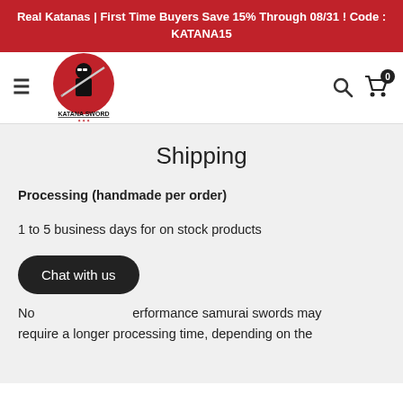Real Katanas | First Time Buyers Save 15% Through 08/31 ! Code : KATANA15
[Figure (logo): Katana Sword logo: man in black holding a katana sword on a red circle background, with text KATANA SWORD below]
Shipping
Processing (handmade per order)
1 to 5 business days for on stock products
Chat with us
Note performance samurai swords may require a longer processing time, depending on the